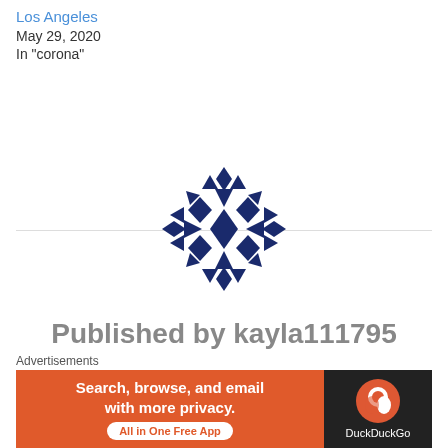Los Angeles
May 29, 2020
In "corona"
[Figure (logo): Circular decorative logo made of dark navy blue geometric diamond and triangle shapes arranged in a kaleidoscopic pattern]
Published by kayla111795
Advertisements
[Figure (screenshot): DuckDuckGo advertisement banner: orange section on left reads 'Search, browse, and email with more privacy. All in One Free App' with a white rounded button; dark section on right shows DuckDuckGo duck logo and name]